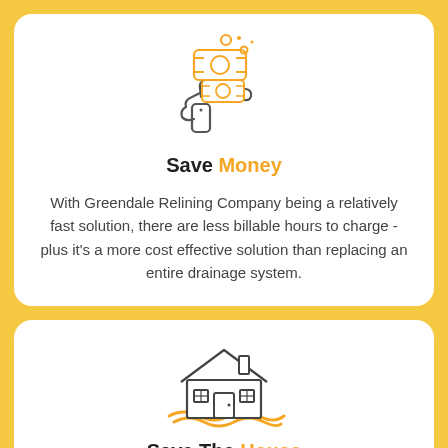[Figure (illustration): Icon of a hand holding money/cash with coins and dollar signs above it, drawn in orange and dark gray line art style]
Save Money
With Greendale Relining Company being a relatively fast solution, there are less billable hours to charge - plus it's a more cost effective solution than replacing an entire drainage system.
[Figure (illustration): Icon of a house with a chimney, windows, and door, sitting on orange wavy ground, drawn in dark gray line art style with orange base]
Save The House